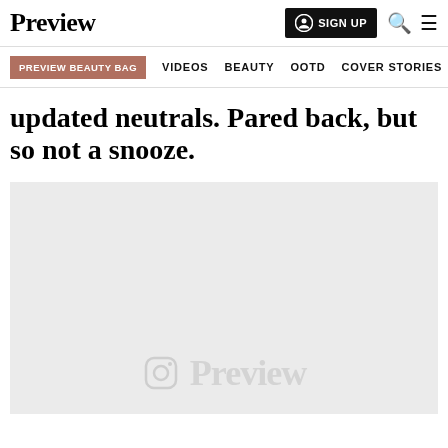Preview | SIGN UP
PREVIEW BEAUTY BAG  VIDEOS  BEAUTY  OOTD  COVER STORIES
updated neutrals. Pared back, but so not a snooze.
[Figure (photo): Image placeholder with Preview Instagram watermark on a light grey background]